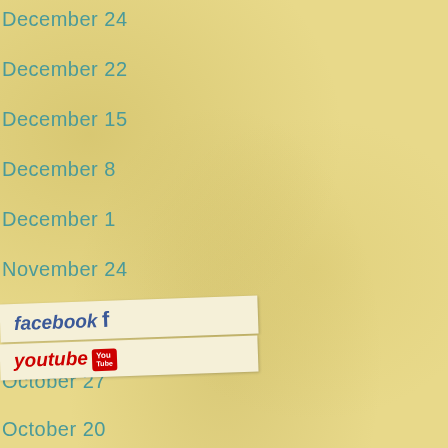December 24
December 22
December 15
December 8
December 1
November 24
November 17
[Figure (illustration): Facebook and YouTube social media links shown as paper strips with handwritten-style text and logos]
October 27
October 20